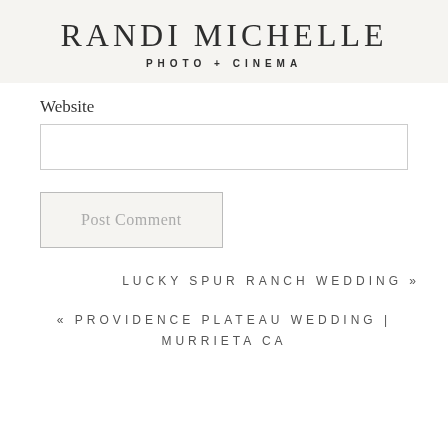RANDI MICHELLE
PHOTO + CINEMA
Website
Post Comment
LUCKY SPUR RANCH WEDDING »
« PROVIDENCE PLATEAU WEDDING | MURRIETA CA